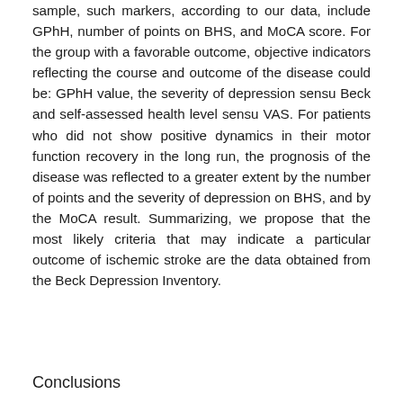sample, such markers, according to our data, include GPhH, number of points on BHS, and MoCA score. For the group with a favorable outcome, objective indicators reflecting the course and outcome of the disease could be: GPhH value, the severity of depression sensu Beck and self-assessed health level sensu VAS. For patients who did not show positive dynamics in their motor function recovery in the long run, the prognosis of the disease was reflected to a greater extent by the number of points and the severity of depression on BHS, and by the MoCA result. Summarizing, we propose that the most likely criteria that may indicate a particular outcome of ischemic stroke are the data obtained from the Beck Depression Inventory.
Conclusions